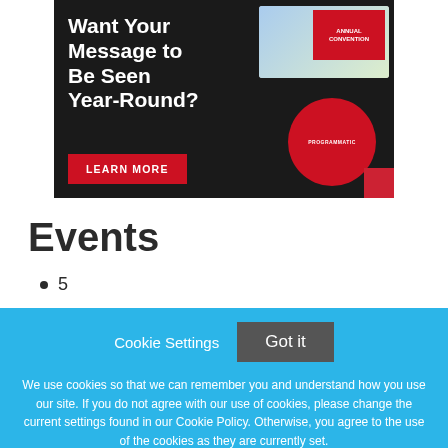[Figure (infographic): Advertisement banner with black background. Left side shows white bold text 'Want Your Message to Be Seen Year-Round?' and a red 'LEARN MORE' button. Right side shows a laptop with an Annual Convention screen, a red programmatic circle icon, and decorative red elements.]
Events
5
Cookie Settings
Got it
We use cookies so that we can remember you and understand how you use our site. If you do not agree with our use of cookies, please change the current settings found in our Cookie Policy. Otherwise, you agree to the use of the cookies as they are currently set.